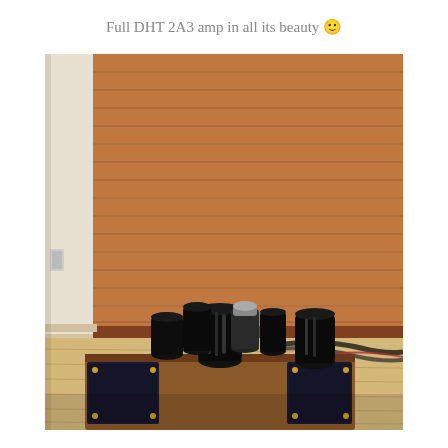Full DHT 2A3 amp in all its beauty 🙂
[Figure (photo): A DHT 2A3 vacuum tube amplifier photographed on a wooden floor in front of a large wooden speaker cabinet. The amplifier features multiple vacuum tubes (some black, some with silver tops) mounted on a wooden chassis with black transformers on the sides. Cables and wiring are visible around the unit.]